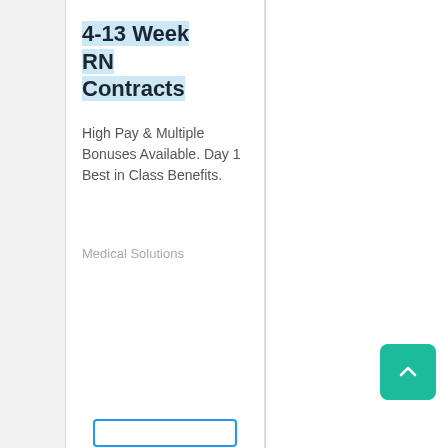4-13 Week RN Contracts
High Pay & Multiple Bonuses Available. Day 1 Best in Class Benefits.
Medical Solutions